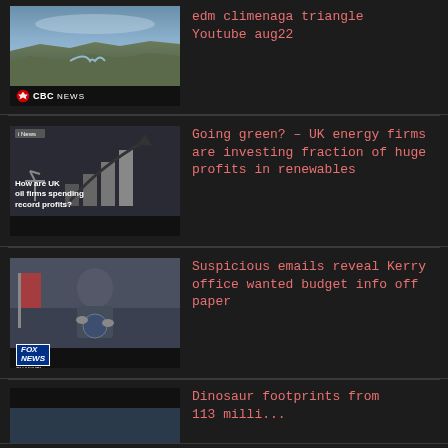[Figure (screenshot): CBC News thumbnail showing aerial landscape view with river, with CBC NEWS logo bar at bottom]
edm climenaga triangle Youtube aug22
[Figure (screenshot): News thumbnail showing bar chart with upward arrow and text 'How are UK oil firms spending record profits?' with News label]
Going green? – UK energy firms are investing fraction of huge profits in renewables
[Figure (screenshot): Fox News thumbnail showing man in suit speaking at podium with Fox News channel logo]
Suspicious emails reveal Kerry office wanted budget info off paper
[Figure (screenshot): Thumbnail partially visible at bottom, dark background]
Dinosaur footprints from 113 milli...